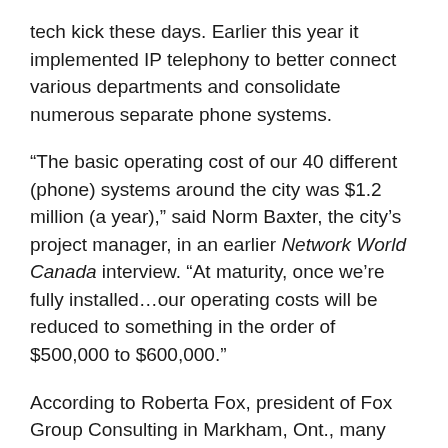tech kick these days. Earlier this year it implemented IP telephony to better connect various departments and consolidate numerous separate phone systems.
“The basic operating cost of our 40 different (phone) systems around the city was $1.2 million (a year),” said Norm Baxter, the city’s project manager, in an earlier Network World Canada interview. “At maturity, once we’re fully installed…our operating costs will be reduced to something in the order of $500,000 to $600,000.”
According to Roberta Fox, president of Fox Group Consulting in Markham, Ont., many municipalities are undertaking wireless and IP projects to address efficiency.
“Quite a few of them have converted their